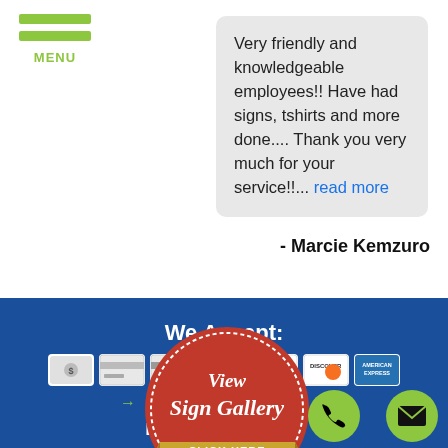MENU
Very friendly and knowledgeable employees!! Have had signs, tshirts and more done.... Thank you very much for your service!!... read more
- Marcie Kemzuro
We Accept:
[Figure (infographic): Payment method icons: cash, two generic card icons, VISA, Mastercard, Discover, American Express]
[Figure (infographic): Red wax seal badge with gold ribbon reading 'View Sign Gallery CLICK HERE']
n Types
A-frame Signs
[Figure (infographic): Green circular phone button icon]
[Figure (infographic): Green circular email/envelope button icon]